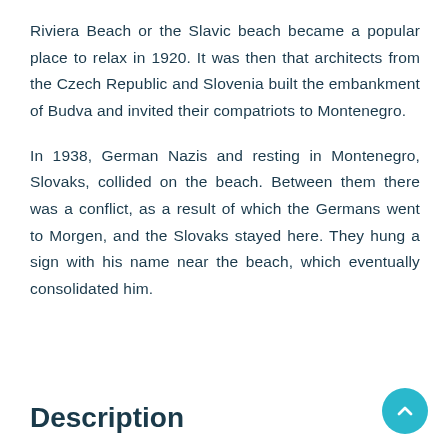Riviera Beach or the Slavic beach became a popular place to relax in 1920. It was then that architects from the Czech Republic and Slovenia built the embankment of Budva and invited their compatriots to Montenegro.
In 1938, German Nazis and resting in Montenegro, Slovaks, collided on the beach. Between them there was a conflict, as a result of which the Germans went to Morgen, and the Slovaks stayed here. They hung a sign with his name near the beach, which eventually consolidated him.
Description